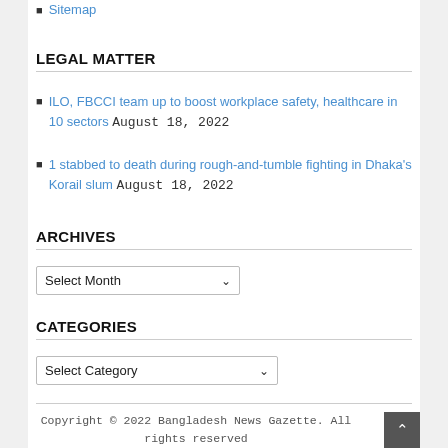Sitemap
LEGAL MATTER
ILO, FBCCI team up to boost workplace safety, healthcare in 10 sectors August 18, 2022
1 stabbed to death during rough-and-tumble fighting in Dhaka's Korail slum August 18, 2022
ARCHIVES
Select Month
CATEGORIES
Select Category
Copyright © 2022 Bangladesh News Gazette. All rights reserved